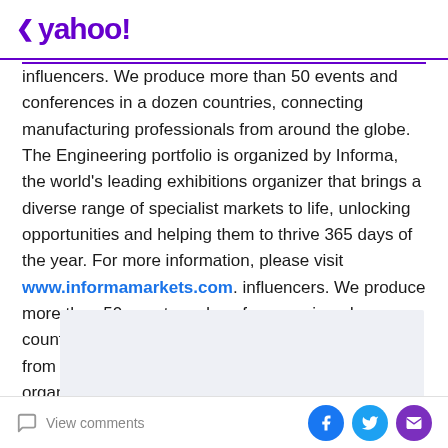< yahoo!
influencers. We produce more than 50 events and conferences in a dozen countries, connecting manufacturing professionals from around the globe. The Engineering portfolio is organized by Informa, the world's leading exhibitions organizer that brings a diverse range of specialist markets to life, unlocking opportunities and helping them to thrive 365 days of the year. For more information, please visit www.informamarkets.com.
[Figure (other): Advertisement placeholder box with light gray background]
View comments | social share icons: Facebook, Twitter, Email